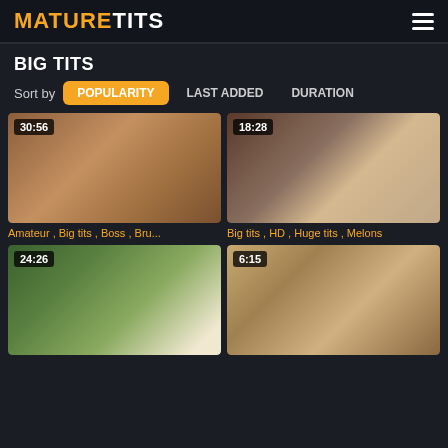MATURETITS
BIG TITS
Sort by  POPULARITY  LAST ADDED  DURATION
[Figure (photo): Video thumbnail showing adult content, duration 30:56, tags: Amateur, Big tits, Boss, Bru...]
[Figure (photo): Video thumbnail showing adult content, duration 18:28, tags: Big tits, HD, Huge tits, Melons]
[Figure (photo): Video thumbnail showing adult content, duration 24:26]
[Figure (photo): Video thumbnail showing adult content, duration 6:15]